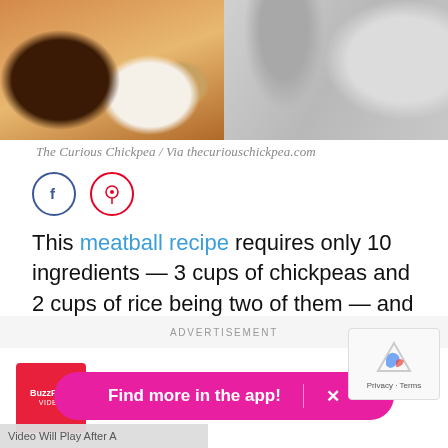[Figure (photo): Two food photos side by side: left shows meatballs in orange curry sauce in a dark bowl with a small white bowl of fried meatballs, right shows a grey cloth on a grey background]
The Curious Chickpea / Via thecuriouschickpea.com
[Figure (other): Facebook and Pinterest social share icons]
This meatball recipe requires only 10 ingredients — 3 cups of chickpeas and 2 cups of rice being two of them — and will wow meat eaters and vegetarians alike.
ADVERTISEMENT
[Figure (logo): BuzzFeed Video logo - red square with white text]
BuzzFeed Videos on BuzzFeed
Find more in the app!
Video Will Play After A